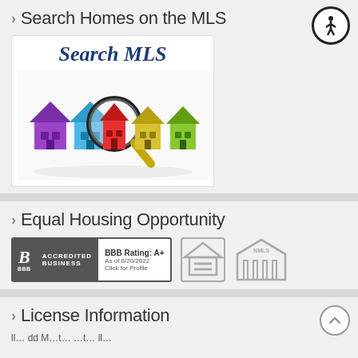Search Homes on the MLS
[Figure (screenshot): MLS search promotional image showing colorful 3D house models (purple, blue, red, yellow, green) with a magnifying glass over the red house, text 'Search MLS' in dark blue at top]
[Figure (logo): Accessibility icon button - circular black border with white person/wheelchair symbol]
Equal Housing Opportunity
[Figure (logo): BBB Accredited Business badge with rating A+ as of 8/20/2022, Click for Profile. Equal Housing Opportunity logo. NMLS logo.]
License Information